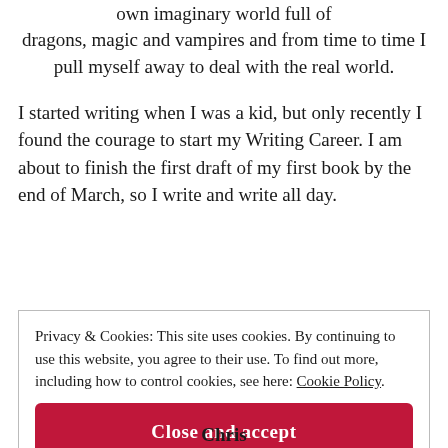own imaginary world full of dragons, magic and vampires and from time to time I pull myself away to deal with the real world.
I started writing when I was a kid, but only recently I found the courage to start my Writing Career. I am about to finish the first draft of my first book by the end of March, so I write and write all day.
Privacy & Cookies: This site uses cookies. By continuing to use this website, you agree to their use. To find out more, including how to control cookies, see here: Cookie Policy
Close and accept
Chris